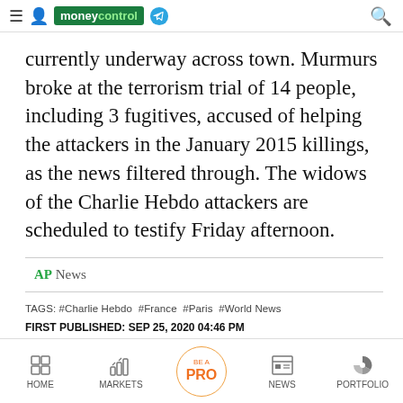moneycontrol
currently underway across town. Murmurs broke at the terrorism trial of 14 people, including 3 fugitives, accused of helping the attackers in the January 2015 killings, as the news filtered through. The widows of the Charlie Hebdo attackers are scheduled to testify Friday afternoon.
AP News
TAGS: #Charlie Hebdo #France #Paris #World News
FIRST PUBLISHED: SEP 25, 2020 04:46 PM
HOME  MARKETS  BE A PRO  NEWS  PORTFOLIO